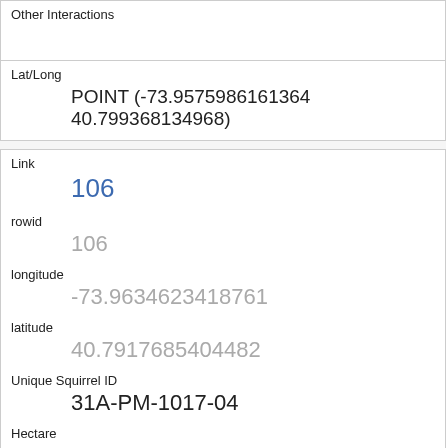| Other Interactions |  |
| Lat/Long | POINT (-73.9575986161364 40.799368134968) |
| Link | 106 |
| rowid | 106 |
| longitude | -73.9634623418761 |
| latitude | 40.7917685404482 |
| Unique Squirrel ID | 31A-PM-1017-04 |
| Hectare | 31A |
| Shift | PM |
| Date | 10172018 |